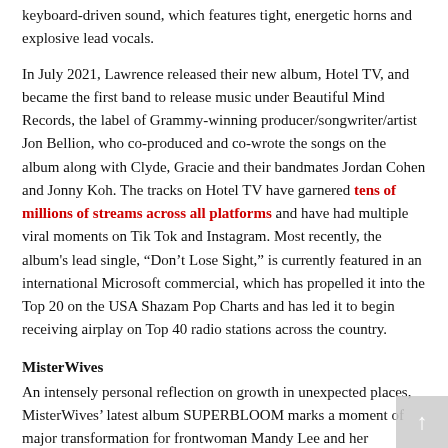keyboard-driven sound, which features tight, energetic horns and explosive lead vocals.
In July 2021, Lawrence released their new album, Hotel TV, and became the first band to release music under Beautiful Mind Records, the label of Grammy-winning producer/songwriter/artist Jon Bellion, who co-produced and co-wrote the songs on the album along with Clyde, Gracie and their bandmates Jordan Cohen and Jonny Koh. The tracks on Hotel TV have garnered tens of millions of streams across all platforms and have had multiple viral moments on Tik Tok and Instagram. Most recently, the album's lead single, “Don’t Lose Sight,” is currently featured in an international Microsoft commercial, which has propelled it into the Top 20 on the USA Shazam Pop Charts and has led it to begin receiving airplay on Top 40 radio stations across the country.
MisterWives
An intensely personal reflection on growth in unexpected places, MisterWives’ latest album SUPERBLOOM marks a moment of major transformation for frontwoman Mandy Lee and her bandmates: Etienne Bowler (drums), William Hehir (bass), Marc Campbell (guitar), and Mike Murphy (saxophone). The New York City-bred band’s third full-length, the 19-track epic finds